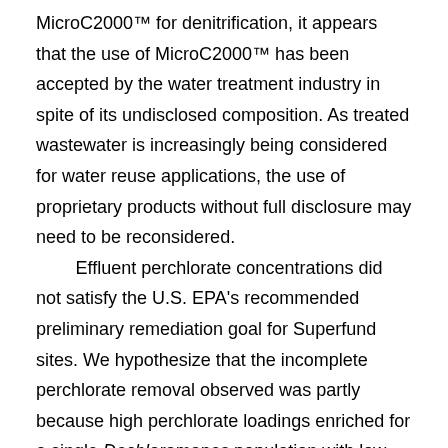MicroC2000™ for denitrification, it appears that the use of MicroC2000™ has been accepted by the water treatment industry in spite of its undisclosed composition. As treated wastewater is increasingly being considered for water reuse applications, the use of proprietary products without full disclosure may need to be reconsidered. Effluent perchlorate concentrations did not satisfy the U.S. EPA's recommended preliminary remediation goal for Superfund sites. We hypothesize that the incomplete perchlorate removal observed was partly because high perchlorate loadings enriched for a single Dechloromonas population with low affinity for perchlorate. Utilizing two FBRs in series may achieve better effluent quality by supporting the growth of perchlorate-reducing populations with higher affinity for perchlorate in the second reactor. However, this two-stage approach would increase the physical and energy footprints of treatment. More research on community structure along concentration gradients that develop in fixed-bed systems, and the